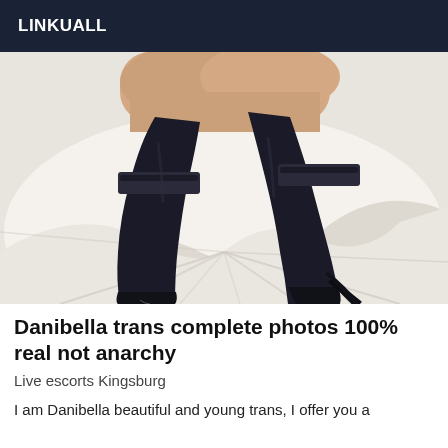LINKUALL
[Figure (photo): Photo of legs wearing dark thigh-high stockings with lace tops and black high heels, lying on white bedding]
Danibella trans complete photos 100% real not anarchy
Live escorts Kingsburg
I am Danibella beautiful and young trans, I offer you a